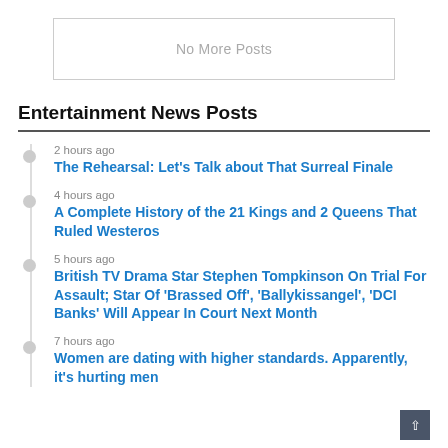No More Posts
Entertainment News Posts
2 hours ago — The Rehearsal: Let’s Talk about That Surreal Finale
4 hours ago — A Complete History of the 21 Kings and 2 Queens That Ruled Westeros
5 hours ago — British TV Drama Star Stephen Tompkinson On Trial For Assault; Star Of ‘Brassed Off’, ‘Ballykissangel’, ‘DCI Banks’ Will Appear In Court Next Month
7 hours ago — Women are dating with higher standards. Apparently, it’s hurting men